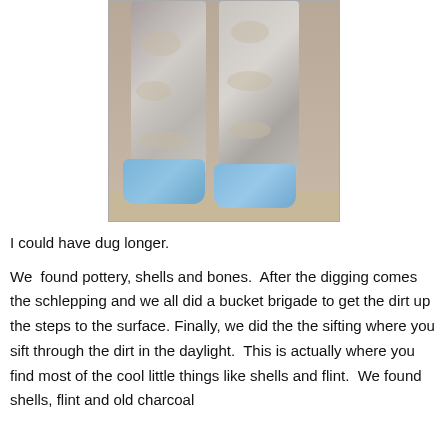[Figure (photo): Photo taken looking down at a person's legs wearing dust-covered grey/white protective overalls and blue shoe covers, standing on a sandy/dirt surface.]
I could have dug longer.
We  found pottery, shells and bones.  After the digging comes the schlepping and we all did a bucket brigade to get the dirt up the steps to the surface. Finally, we did the the sifting where you sift through the dirt in the daylight.  This is actually where you find most of the cool little things like shells and flint.  We found shells, flint and old charcoal